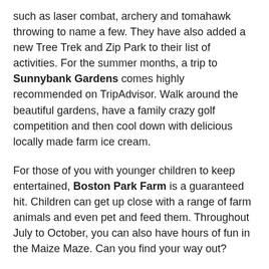such as laser combat, archery and tomahawk throwing to name a few. They have also added a new Tree Trek and Zip Park to their list of activities. For the summer months, a trip to Sunnybank Gardens comes highly recommended on TripAdvisor. Walk around the beautiful gardens, have a family crazy golf competition and then cool down with delicious locally made farm ice cream.
For those of you with younger children to keep entertained, Boston Park Farm is a guaranteed hit. Children can get up close with a range of farm animals and even pet and feed them. Throughout July to October, you can also have hours of fun in the Maize Maze. Can you find your way out?
One of Doncaster's favourite family attractions is the Doncaster Dome, one of the region's premier sports, leisure and entertainment destinations, with over 50 activities taking place under one roof. The family can